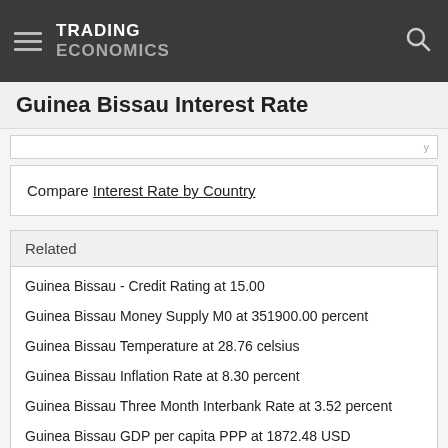TRADING ECONOMICS
Guinea Bissau Interest Rate
Compare Interest Rate by Country
Related
Guinea Bissau - Credit Rating at 15.00
Guinea Bissau Money Supply M0 at 351900.00 percent
Guinea Bissau Temperature at 28.76 celsius
Guinea Bissau Inflation Rate at 8.30 percent
Guinea Bissau Three Month Interbank Rate at 3.52 percent
Guinea Bissau GDP per capita PPP at 1872.48 USD
Guinea Bissau GDP per capita at 627.68 USD